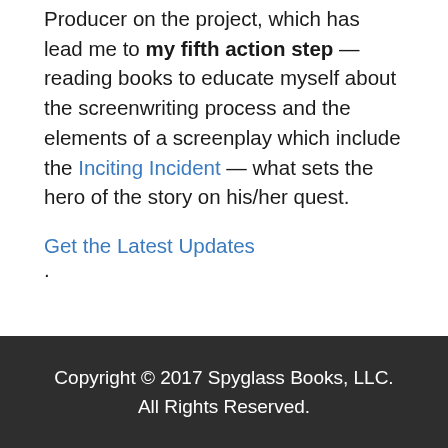Producer on the project, which has lead me to my fifth action step — reading books to educate myself about the screenwriting process and the elements of a screenplay which include the Inciting Incident — what sets the hero of the story on his/her quest.

Get the Latest Updates.
Copyright © 2017 Spyglass Books, LLC. All Rights Reserved.